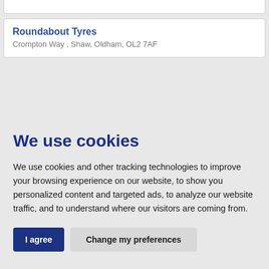Roundabout Tyres
Crompton Way , Shaw, Oldham, OL2 7AF
We use cookies
We use cookies and other tracking technologies to improve your browsing experience on our website, to show you personalized content and targeted ads, to analyze our website traffic, and to understand where our visitors are coming from.
I agree | Change my preferences